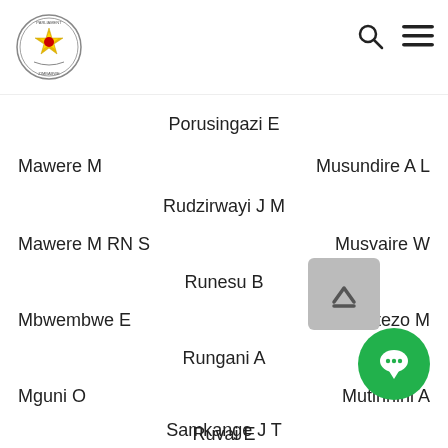Parliament of Zimbabwe
Porusingazi E (center)
Mawere M (left) | Musundire A L (right)
Rudzirwayi J M (center)
Mawere M RN S (left) | Musvaire W (right)
Runesu B (center)
Mbwembwe E (left) | Mutezo M (right)
Rungani A (center)
Mguni O (left) | Mutinhini A (right)
Ruvai E (center)
Mhere E (left) | Mu...W (right)
Samkange J T (center)